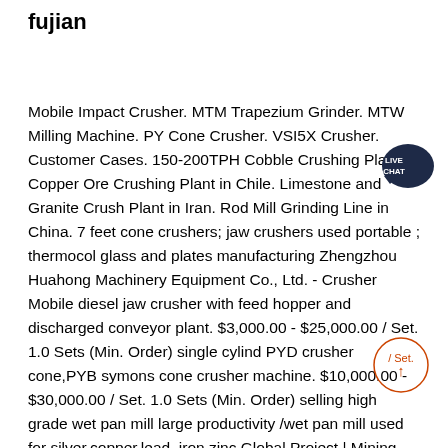fujian
Mobile Impact Crusher. MTM Trapezium Grinder. MTW Milling Machine. PY Cone Crusher. VSI5X Crusher. Customer Cases. 150-200TPH Cobble Crushing Plant. Copper Ore Crushing Plant in Chile. Limestone and Granite Crush Plant in Iran. Rod Mill Grinding Line in China. 7 feet cone crushers; jaw crushers used portable ; thermocol glass and plates manufacturing Zhengzhou Huahong Machinery Equipment Co., Ltd. - Crusher Mobile diesel jaw crusher with feed hopper and discharged conveyor plant. $3,000.00 - $25,000.00 / Set. 1.0 Sets (Min. Order) single cylind PYD crusher cone,PYB symons cone crusher machine. $10,000.00 - $30,000.00 / Set. 1.0 Sets (Min. Order) selling high grade wet pan mill large productivity /wet pan mill used for silver,copper,lead, iron,zinc Global Project | Mining, Crushing, Grinding, BeneficiationSep 11, 2022· Global Project. Kefid machinery supply global mining , crushing